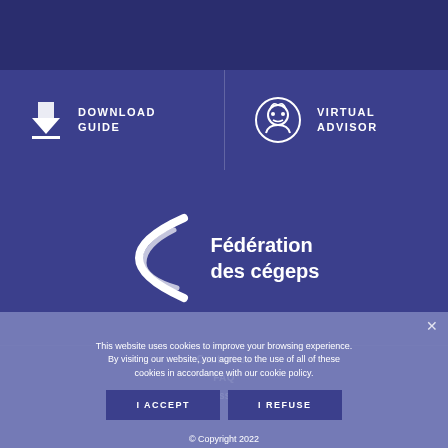[Figure (illustration): Download Guide button with download arrow icon and text DOWNLOAD GUIDE]
[Figure (illustration): Virtual Advisor button with avatar icon and text VIRTUAL ADVISOR]
[Figure (logo): Fédération des cégeps logo with arc bracket symbol and white text]
Contact us
FAQ
Glossary
This website uses cookies to improve your browsing experience. By visiting our website, you agree to the use of all of these cookies in accordance with our cookie policy.
I ACCEPT
I REFUSE
© Copyright 2022